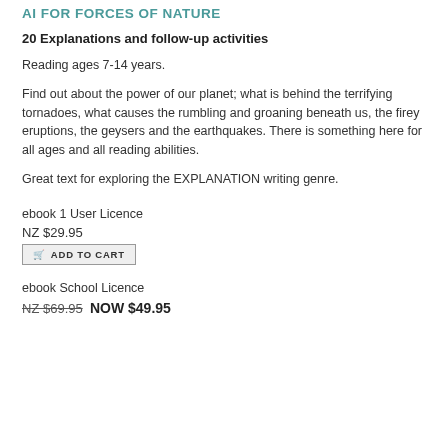AI FOR FORCES OF NATURE
20 Explanations and follow-up activities
Reading ages 7-14 years.
Find out about the power of our planet; what is behind the terrifying tornadoes, what causes the rumbling and groaning beneath us, the firey eruptions, the geysers and the earthquakes. There is something here for all ages and all reading abilities.
Great text for exploring the EXPLANATION writing genre.
ebook 1 User Licence
NZ $29.95
ADD TO CART
ebook School Licence
NZ $69.95  NOW $49.95